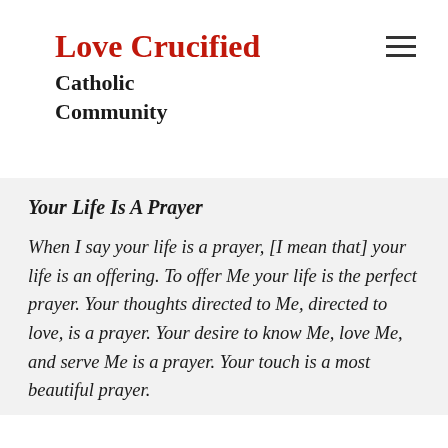Love Crucified
Catholic Community
Your Life Is A Prayer
When I say your life is a prayer, [I mean that] your life is an offering. To offer Me your life is the perfect prayer. Your thoughts directed to Me, directed to love, is a prayer. Your desire to know Me, love Me, and serve Me is a prayer. Your touch is a most beautiful prayer.